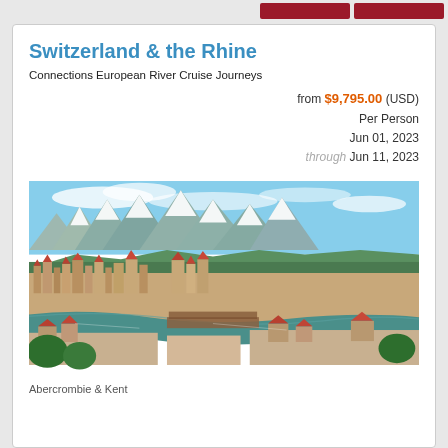Switzerland & the Rhine
Connections European River Cruise Journeys
from $9,795.00 (USD)
Per Person
Jun 01, 2023
through Jun 11, 2023
[Figure (photo): Aerial view of Lucerne, Switzerland with the River Reuss, old town buildings with orange-red roofs, a covered wooden bridge, and snow-capped Alps in the background under a blue sky.]
Abercrombie & Kent